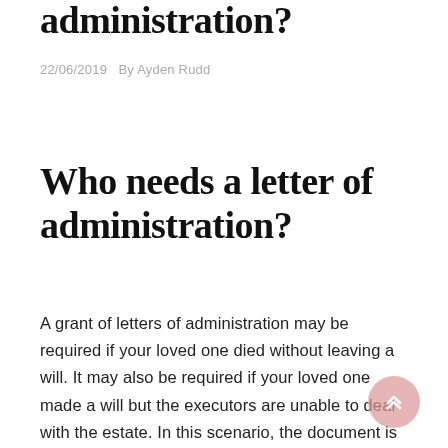administration?
22/06/2019   By Ayden Rudd
Who needs a letter of administration?
A grant of letters of administration may be required if your loved one died without leaving a will. It may also be required if your loved one made a will but the executors are unable to deal with the estate. In this scenario, the document is known as a grant of